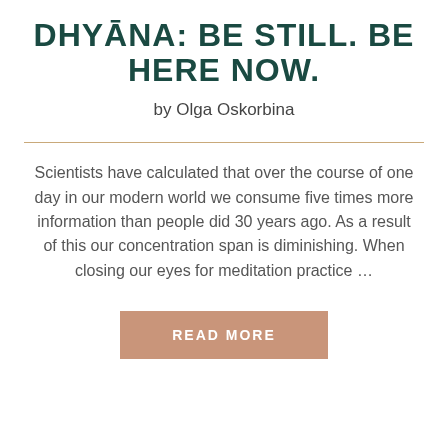DHYĀNA: BE STILL. BE HERE NOW.
by Olga Oskorbina
Scientists have calculated that over the course of one day in our modern world we consume five times more information than people did 30 years ago. As a result of this our concentration span is diminishing. When closing our eyes for meditation practice …
READ MORE